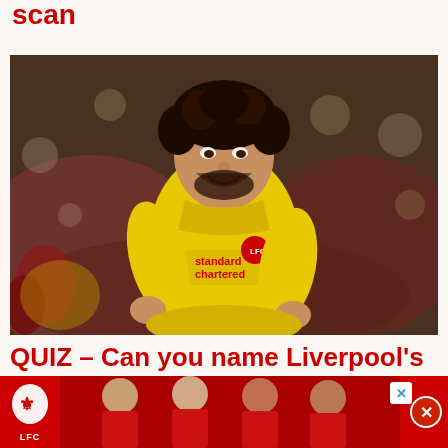scan
[Figure (photo): Mohamed Salah wearing a yellow Liverpool FC away kit with Standard Chartered sponsor, smiling and celebrating, crowd in background]
QUIZ – Can you name Liverpool's 18
[Figure (photo): Liverpool FC advertisement banner with LFC crest and players in red kit]